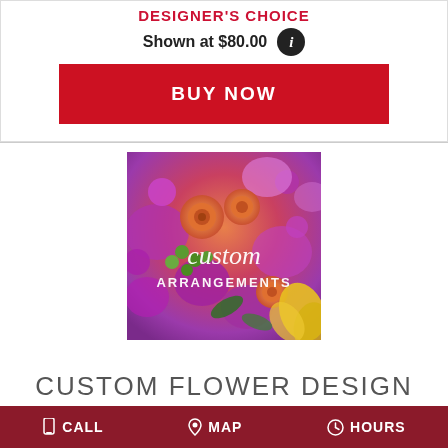DESIGNER'S CHOICE
Shown at $80.00
BUY NOW
[Figure (photo): Colorful custom flower arrangement with orange roses, purple blooms, green berries, and yellow lilies. Overlaid text reads 'custom ARRANGEMENTS' in white.]
CUSTOM FLOWER DESIGN
CALL  MAP  HOURS